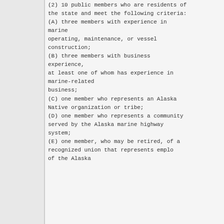the state and meet the following criteria:
(A) three members with experience in marine operating, maintenance, or vessel construction;
(B) three members with business experience, at least one of whom has experience in marine-related business;
(C) one member who represents an Alaska Native organization or tribe;
(D) one member who represents a community served by the Alaska marine highway system;
(E) one member, who may be retired, of a recognized union that represents employees of the Alaska